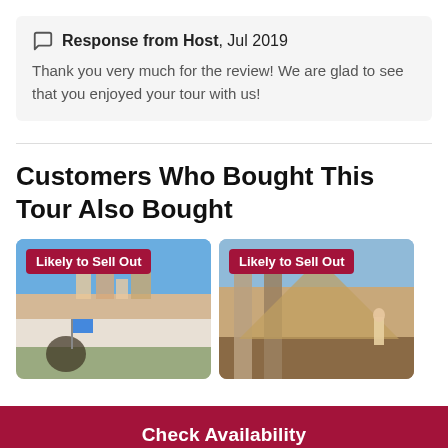Response from Host, Jul 2019
Thank you very much for the review! We are glad to see that you enjoyed your tour with us!
Customers Who Bought This Tour Also Bought
[Figure (photo): Photo of a coastal hillside town with colorful buildings, blue sky, and a person holding a blue flag in the foreground. Badge reads 'Likely to Sell Out'.]
[Figure (photo): Photo of ancient ruins or a pyramid seen through stone columns, with a person standing in view. Badge reads 'Likely to Sell Out'.]
Check Availability